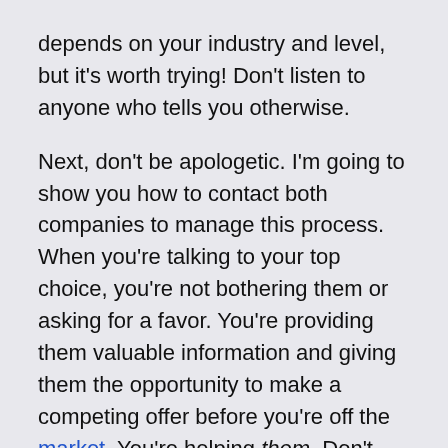depends on your industry and level, but it's worth trying! Don't listen to anyone who tells you otherwise.
Next, don't be apologetic. I'm going to show you how to contact both companies to manage this process. When you're talking to your top choice, you're not bothering them or asking for a favor. You're providing them valuable information and giving them the opportunity to make a competing offer before you're off the market. You're helping them. Don't forget that.
It is important to go through this process because it may help both companies in making